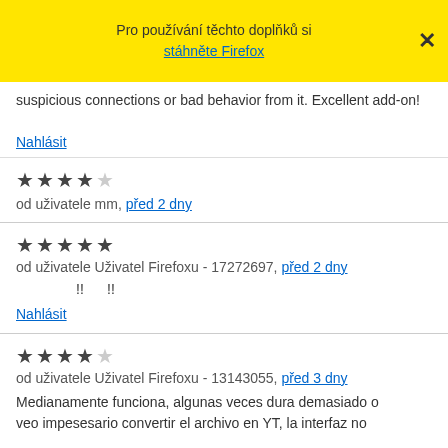Pro používání těchto doplňků si stáhněte Firefox
suspicious connections or bad behavior from it. Excellent add-on!
Nahlásit
★★★★☆ od uživatele mm, před 2 dny
★★★★★ od uživatele Uživatel Firefoxu - 17272697, před 2 dny
!! !!
Nahlásit
★★★★☆ od uživatele Uživatel Firefoxu - 13143055, před 3 dny
Medianamente funciona, algunas veces dura demasiado o veo impesesario convertir el archivo en YT, la interfaz no